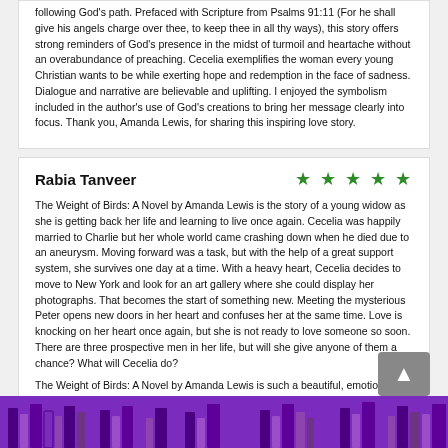following God's path. Prefaced with Scripture from Psalms 91:11 (For he shall give his angels charge over thee, to keep thee in all thy ways), this story offers strong reminders of God's presence in the midst of turmoil and heartache without an overabundance of preaching. Cecelia exemplifies the woman every young Christian wants to be while exerting hope and redemption in the face of sadness. Dialogue and narrative are believable and uplifting. I enjoyed the symbolism included in the author's use of God's creations to bring her message clearly into focus. Thank you, Amanda Lewis, for sharing this inspiring love story.
Rabia Tanveer
[Figure (other): 5 green stars rating]
The Weight of Birds: A Novel by Amanda Lewis is the story of a young widow as she is getting back her life and learning to live once again. Cecelia was happily married to Charlie but her whole world came crashing down when he died due to an aneurysm. Moving forward was a task, but with the help of a great support system, she survives one day at a time. With a heavy heart, Cecelia decides to move to New York and look for an art gallery where she could display her photographs. That becomes the start of something new. Meeting the mysterious Peter opens new doors in her heart and confuses her at the same time. Love is knocking on her heart once again, but she is not ready to love someone so soon. There are three prospective men in her life, but will she give anyone of them a chance? What will Cecelia do?
The Weight of Birds: A Novel by Amanda Lewis is such a beautiful, emotional, entertaining, and heartbreaking story. Cecelia was going through a tough time, but her support system was great. They helped her pick up the pieces of her life and get back on her feet. The pace is great, the author didn't rush anything and gave Cecelia enough time to heal her heart and recover before moving on. Of all the prospective men in her life, Peter was my favorite. He was compassionate, determined, and complemented her well. Cecelia's struggles felt real and her desire to move forward was relatable. I enjoyed her progress and development. I loved this sweet romance.
[Figure (illustration): Purple decorative book silhouettes banner at the bottom of the page]